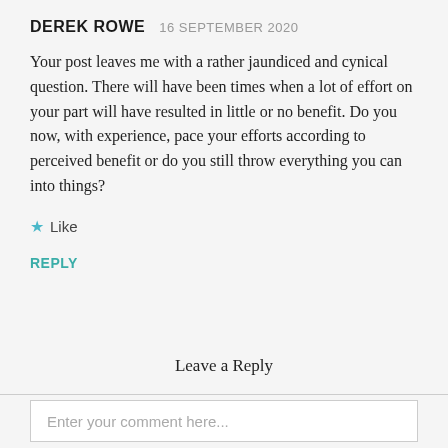DEREK ROWE   16 SEPTEMBER 2020
Your post leaves me with a rather jaundiced and cynical question. There will have been times when a lot of effort on your part will have resulted in little or no benefit. Do you now, with experience, pace your efforts according to perceived benefit or do you still throw everything you can into things?
★ Like
REPLY
Leave a Reply
Enter your comment here...